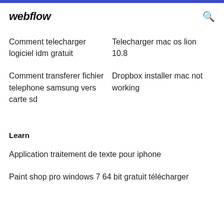webflow
Comment telecharger logiciel idm gratuit
Telecharger mac os lion 10.8
Comment transferer fichier telephone samsung vers carte sd
Dropbox installer mac not working
Learn
Application traitement de texte pour iphone
Paint shop pro windows 7 64 bit gratuit télécharger